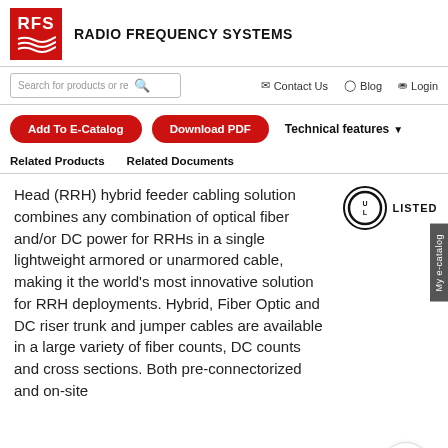[Figure (logo): RFS (Radio Frequency Systems) logo — red square with white RFS text and wave lines]
RADIO FREQUENCY SYSTEMS
[Figure (screenshot): Navigation bar with search box, Contact Us, Blog, Login links]
[Figure (screenshot): Add To E-Catalog and Download PDF red buttons, Technical features dropdown]
Related Products   Related Documents
Head (RRH) hybrid feeder cabling solution combines any combination of optical fiber and/or DC power for RRHs in a single lightweight armored or unarmored cable, making it the world's most innovative solution for RRH deployments. Hybrid, Fiber Optic and DC riser trunk and jumper cables are available in a large variety of fiber counts, DC counts and cross sections. Both pre-connectorized and on-site
[Figure (logo): UL Listed certification mark — circle with UL text and LISTED label]
[Figure (infographic): My e-catalog vertical sidebar tab]
[Figure (infographic): Circular hamburger menu button with red horizontal lines]